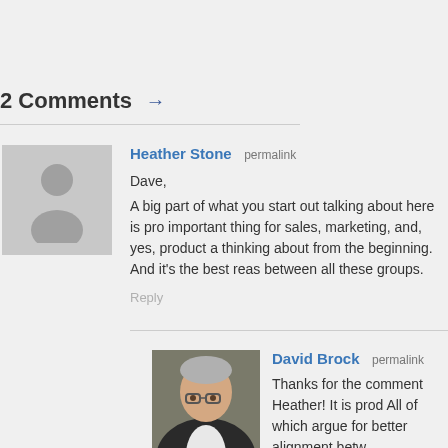2 Comments →
[Figure (photo): Default grey avatar placeholder image for Heather Stone]
Heather Stone permalink

Dave,
A big part of what you start out talking about here is pro... important thing for sales, marketing, and, yes, product a... thinking about from the beginning. And it's the best reas... between all these groups.

Reply
[Figure (photo): Photo of David Brock, a man with glasses and grey hair wearing a suit]
David Brock permalink

Thanks for the comment Heather! It is prod... All of which argue for better alignment betw... management and others. Thanks so much... Regards, Dave